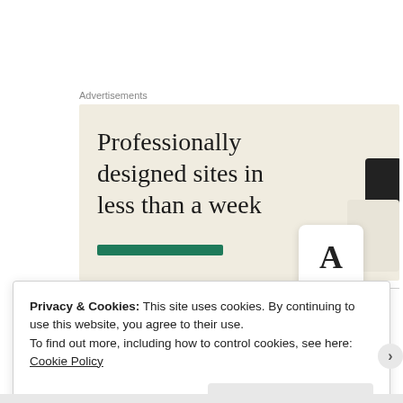Advertisements
[Figure (illustration): Advertisement banner with beige background showing text 'Professionally designed sites in less than a week' with a green CTA button and decorative UI mockup cards on the right side.]
Privacy & Cookies: This site uses cookies. By continuing to use this website, you agree to their use.
To find out more, including how to control cookies, see here:
Cookie Policy
Close and accept